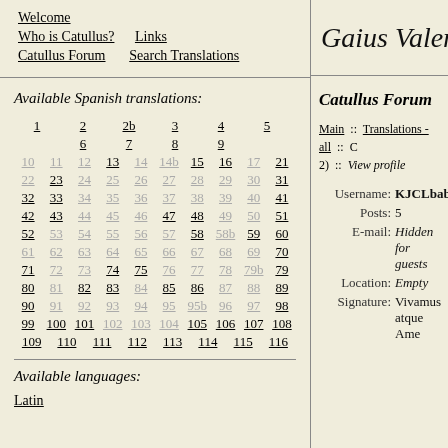Gaius Valerius
Welcome
Who is Catullus?  Links
Catullus Forum  Search Translations
Available Spanish translations:
1 2 2b 3 4 5 6 7 8 9 10 11 12 13 14 14b 15 16 17 21 22 23 24 25 26 27 28 29 30 31 32 33 34 35 36 37 38 39 40 41 42 43 44 45 46 47 48 49 50 51 52 53 54 55 56 57 58 58b 59 60 61 62 63 64 65 66 67 68 69 70 71 72 73 74 75 76 77 78 79b 79 80 81 82 83 84 85 86 87 88 89 90 91 92 93 94 95b 96 97 98 99 100 101 102 103 104 105 106 107 108 109 110 111 112 113 114 115 116
Available languages:
Latin
Catullus Forum
Main :: Translations - all :: C 2) :: View profile
Username: KJCLbabe
Posts: 5
E-mail: Hidden for guests
Location: Empty
Signature: Vivamus atque Ame